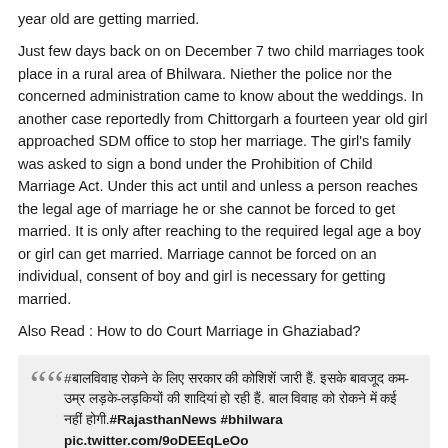year old are getting married.
Just few days back on on December 7 two child marriages took place in a rural area of Bhilwara. Niether the police nor the concerned administration came to know about the weddings. In another case reportedly from Chittorgarh a fourteen year old girl approached SDM office to stop her marriage. The girl's family was asked to sign a bond under the Prohibition of Child Marriage Act. Under this act until and unless a person reaches the legal age of marriage he or she cannot be forced to get married. It is only after reaching to the required legal age a boy or girl can get married. Marriage cannot be forced on an individual, consent of boy and girl is necessary for getting married.
Also Read : How to do Court Marriage in Ghaziabad?
#बालविवाह रोकने के लिए सरकार की कोशिशें जारी हैं. इसके बावजूद कम-उम्र लड़के-लड़कियों की शादियां हो रही हैं. बाल विवाह को रोकने में कई नहीं होगी.#RajasthanNews #bhilwara pic.twitter.com/9oDEEqLeOo — सूर्यरेखा (@suryarekha_in) December 8, 2021